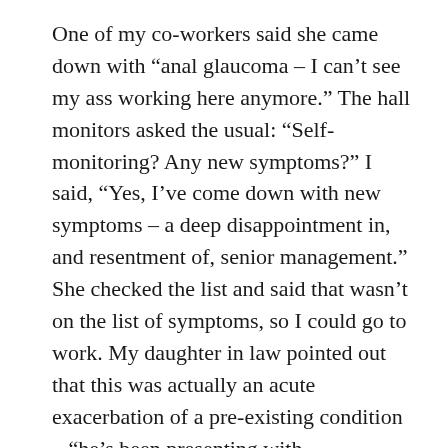One of my co-workers said she came down with “anal glaucoma – I can’t see my ass working here anymore.” The hall monitors asked the usual: “Self-monitoring? Any new symptoms?” I said, “Yes, I’ve come down with new symptoms – a deep disappointment in, and resentment of, senior management.” She checked the list and said that wasn’t on the list of symptoms, so I could go to work. My daughter in law pointed out that this was actually an acute exacerbation of a pre-existing condition – “he’s been presenting with disappointment in and resentment of upper management for quite some time”.
Another Modest Proposal